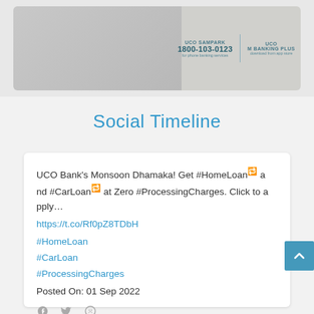[Figure (photo): UCO Bank advertisement banner showing two people sitting on a couch with a laptop, with UCO SAMPARK phone number 1800-103-0123 and UCO M BANKING PLUS app store download info]
Social Timeline
UCO Bank's Monsoon Dhamaka! Get #HomeLoan and #CarLoan at Zero #ProcessingCharges. Click to apply…
https://t.co/Rf0pZ8TDbH
#HomeLoan
#CarLoan
#ProcessingCharges
Posted On: 01 Sep 2022